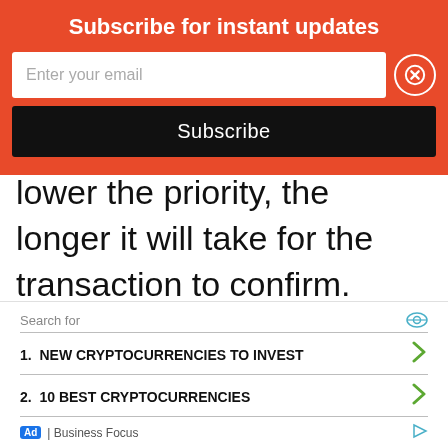Subscribe for instant updates
Enter your email
Subscribe
lower the priority, the longer it will take for the transaction to confirm. Increase the fee for more urgent transactions that need to be confirmed quickly.
Search for
1. NEW CRYPTOCURRENCIES TO INVEST
2. 10 BEST CRYPTOCURRENCIES
Ad | Business Focus